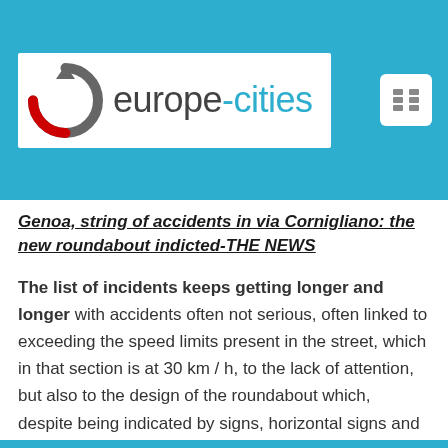[Figure (logo): europe-cities logo with circular arrow icon in gray and red, text 'europe-cities' in gray and teal on white background]
Genoa, string of accidents in via Cornigliano: the new roundabout indicted-THE NEWS
The list of incidents keeps getting longer and longer with accidents often not serious, often linked to exceeding the speed limits present in the street, which in that section is at 30 km / h, to the lack of attention, but also to the design of the roundabout which, despite being indicated by signs, horizontal signs and now from the plastic barriers, it would still seem hardly visible.